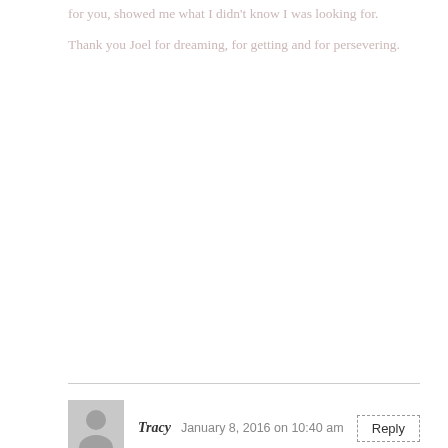for you, showed me what I didn't know I was looking for.
Thank you Joel for dreaming, for getting and for persevering.
Tracy    January 8, 2016 on 10:40 am    Reply
Thank you for sharing your story! What an